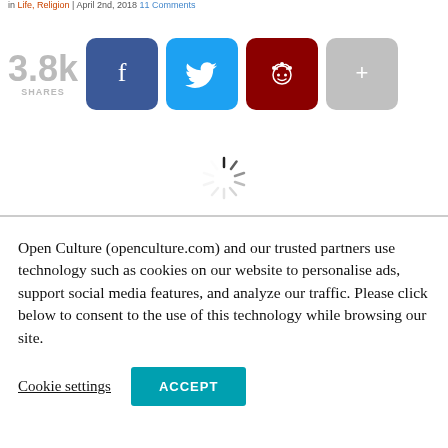in Life, Religion | April 2nd, 2018 11 Comments
3.8k SHARES
[Figure (infographic): Social share buttons: Facebook (blue), Twitter (cyan), Reddit (dark red), More (gray plus)]
[Figure (other): Loading spinner animation]
Open Culture (openculture.com) and our trusted partners use technology such as cookies on our website to personalise ads, support social media features, and analyze our traffic. Please click below to consent to the use of this technology while browsing our site.
Cookie settings  ACCEPT